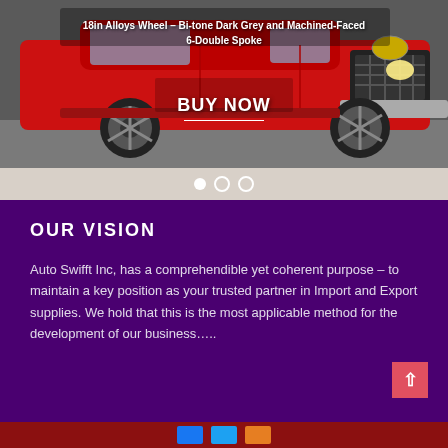[Figure (photo): Red Toyota Land Cruiser Prado SUV with text overlay: '18in Alloys Wheel – Bi-tone Dark Grey and Machined-Faced – 6-Double Spoke' and a 'BUY NOW' call-to-action with carousel navigation dots below]
OUR VISION
Auto Swifft Inc, has a comprehendible yet coherent purpose – to maintain a key position as your trusted partner in Import and Export supplies. We hold that this is the most applicable method for the development of our business…..